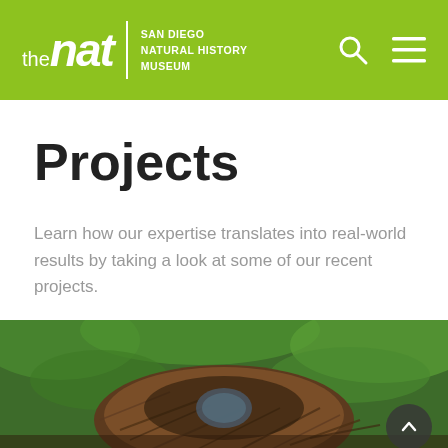the nat | SAN DIEGO NATURAL HISTORY MUSEUM
Projects
Learn how our expertise translates into real-world results by taking a look at some of our recent projects.
[Figure (photo): Close-up photo of a bird's nest with eggs, surrounded by green foliage]